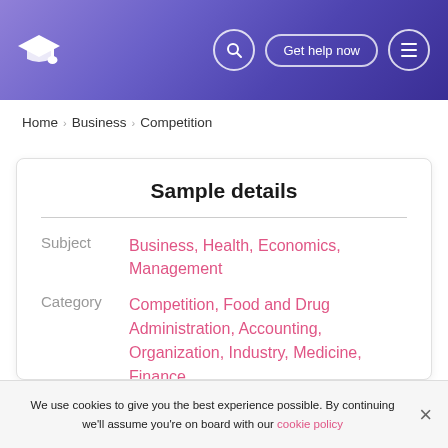Graduation cap logo, search icon, Get help now button, menu icon
Home > Business > Competition
Sample details
Subject   Business, Health, Economics, Management
Category   Competition, Food and Drug Administration, Accounting, Organization, Industry, Medicine, Finance
Topic   Income, Mergers and acquisitions, Pharmaceutical Industry, Pharmacology, Stock
We use cookies to give you the best experience possible. By continuing we'll assume you're on board with our cookie policy